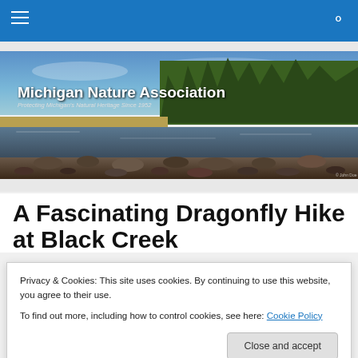Michigan Nature Association - navigation bar with hamburger menu and search icon
[Figure (photo): Hero banner photo of Michigan Nature Association showing a rocky shoreline with water, sandy beach area, trees in background, and cloudy sky. Text overlay reads 'Michigan Nature Association - Protecting Michigan's Natural Heritage Since 1952'. Small photo credit in bottom right corner.]
A Fascinating Dragonfly Hike at Black Creek
Privacy & Cookies: This site uses cookies. By continuing to use this website, you agree to their use.
To find out more, including how to control cookies, see here: Cookie Policy
Close and accept